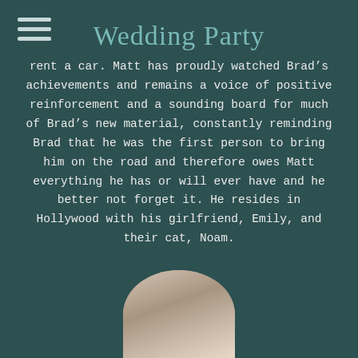Wedding Party
rent a car. Matt has proudly watched Brad’s achievements and remains a voice of positive reinforcement and a sounding board for much of Brad’s new material, constantly reminding Brad that he was the first person to bring him on the road and therefore owes Matt everything he has or will ever have and he better not forget it. He resides in Hollywood with his girlfriend, Emily, and their cat, Noam.
[Figure (photo): Circular portrait photo of a person, cropped at bottom of page, showing head and shoulders]